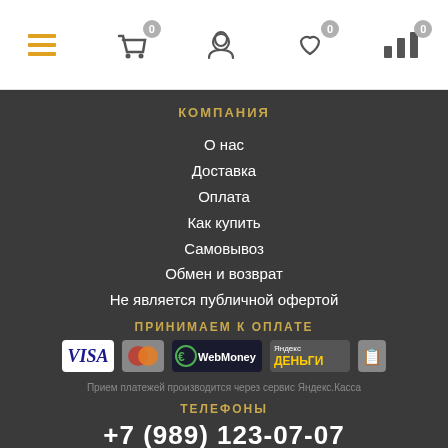Navigation bar with menu, cart (0), profile, wishlist (0), charts (0)
КОМПАНИЯ
О нас
Доставка
Оплата
Как купить
Самовывоз
Обмен и возврат
Не является публичной офертой
ПРИНИМАЕМ К ОПЛАТЕ
[Figure (logo): Payment logos: VISA, MasterCard, WebMoney, Яндекс Деньги]
Прием платежей производится через сервис Яндекс.Касса
ТЕЛЕФОНЫ
+7 (989) 123-07-07